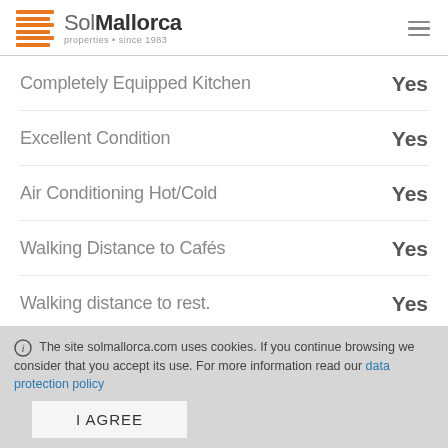SolMallorca properties • since 1983
Completely Equipped Kitchen — Yes
Excellent Condition — Yes
Air Conditioning Hot/Cold — Yes
Walking Distance to Cafés — Yes
Walking distance to rest. — Yes
Community Garden — Yes
The site solmallorca.com uses cookies. If you continue browsing we consider that you accept its use. For more information read our data protection policy. | I AGREE